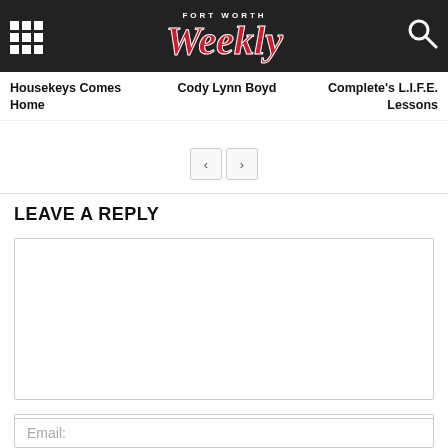Fort Worth Weekly
Housekeys Comes Home
Cody Lynn Boyd
Complete's L.I.F.E. Lessons
LEAVE A REPLY
Comment:
Name:
Email: